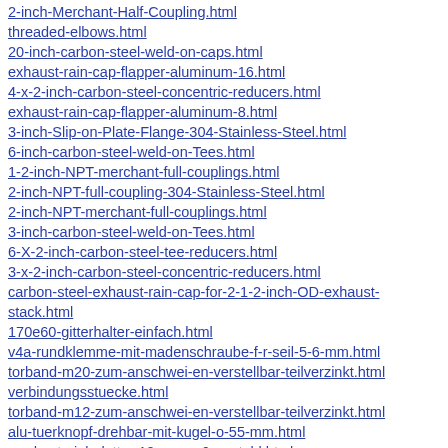2-inch-Merchant-Half-Coupling.html
threaded-elbows.html
20-inch-carbon-steel-weld-on-caps.html
exhaust-rain-cap-flapper-aluminum-16.html
4-x-2-inch-carbon-steel-concentric-reducers.html
exhaust-rain-cap-flapper-aluminum-8.html
3-inch-Slip-on-Plate-Flange-304-Stainless-Steel.html
6-inch-carbon-steel-weld-on-Tees.html
1-2-inch-NPT-merchant-full-couplings.html
2-inch-NPT-full-coupling-304-Stainless-Steel.html
2-inch-NPT-merchant-full-couplings.html
3-inch-carbon-steel-weld-on-Tees.html
6-X-2-inch-carbon-steel-tee-reducers.html
3-x-2-inch-carbon-steel-concentric-reducers.html
carbon-steel-exhaust-rain-cap-for-2-1-2-inch-OD-exhaust-stack.html
170e60-gitterhalter-einfach.html
v4a-rundklemme-mit-madenschraube-f-r-seil-5-6-mm.html
torband-m20-zum-anschwei-en-verstellbar-teilverzinkt.html
verbindungsstuecke.html
torband-m12-zum-anschwei-en-verstellbar-teilverzinkt.html
alu-tuerknopf-drehbar-mit-kugel-o-55-mm.html
rundmaterial-glatt-o-12-mm-a-6-m-stahl.html
rohrverbinder-32.html
stangenmaterial.html